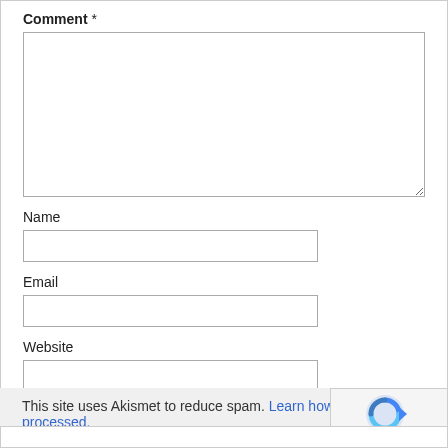Comment *
[Figure (screenshot): Comment textarea input field, empty, with resize handle at bottom-right]
Name
[Figure (screenshot): Name text input field, empty]
Email
[Figure (screenshot): Email text input field, empty]
Website
[Figure (screenshot): Website text input field, empty]
[Figure (screenshot): Post Comment submit button]
This site uses Akismet to reduce spam. Learn how your comment data is processed.
[Figure (logo): reCAPTCHA badge with spinning arrow logo and Privacy - Terms links]